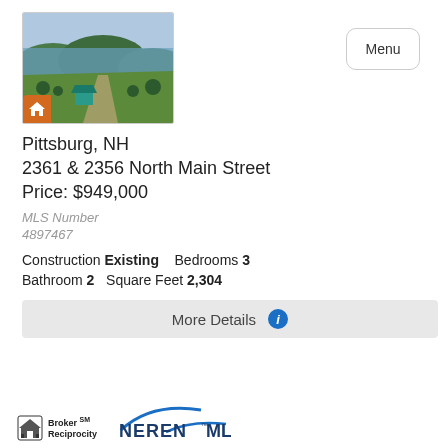[Figure (photo): Aerial photo of property with lake and green forest in background, road and small house with teal roof visible]
Pittsburg, NH
2361 & 2356 North Main Street
Price: $949,000
MLS Number
4897467
Construction Existing   Bedrooms 3
Bathroom 2   Square Feet 2,304
More Details
1
[Figure (logo): Broker Reciprocity logo with house icon and NEREN MLS logo in blue]
Broker Reciprocity | NEREN MLS